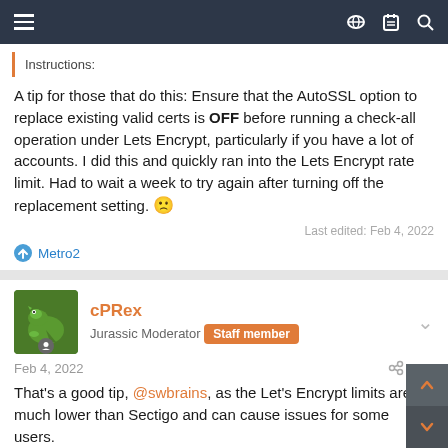Navigation bar with hamburger menu and icons
Instructions:
A tip for those that do this: Ensure that the AutoSSL option to replace existing valid certs is OFF before running a check-all operation under Lets Encrypt, particularly if you have a lot of accounts. I did this and quickly ran into the Lets Encrypt rate limit. Had to wait a week to try again after turning off the replacement setting. 🙁
Last edited: Feb 4, 2022
Metro2
cPRex
Jurassic Moderator  Staff member
Feb 4, 2022  #20
That's a good tip, @swbrains, as the Let's Encrypt limits are much lower than Sectigo and can cause issues for some users.